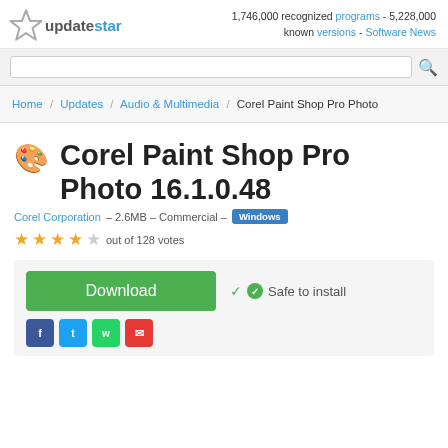updatestar — 1,746,000 recognized programs - 5,228,000 known versions - Software News
Search bar
Home / Updates / Audio & Multimedia / Corel Paint Shop Pro Photo
Corel Paint Shop Pro Photo 16.1.0.48
Corel Corporation – 2.6MB – Commercial – Windows
4 out of 128 votes
Download — Safe to install